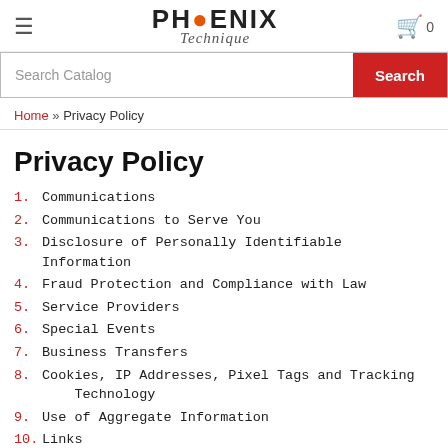PHOENIX Technique — navigation header with hamburger menu, logo, and cart icon (0)
Search Catalog | Search
Home » Privacy Policy
Privacy Policy
1. Communications
2. Communications to Serve You
3. Disclosure of Personally Identifiable Information
4. Fraud Protection and Compliance with Law
5. Service Providers
6. Special Events
7. Business Transfers
8. Cookies, IP Addresses, Pixel Tags and Tracking Technology
9. Use of Aggregate Information
10. Links